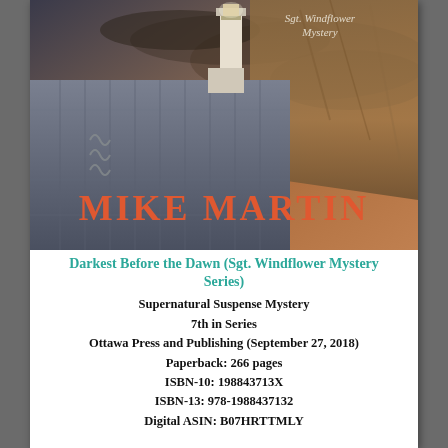[Figure (illustration): Book cover for 'Darkest Before the Dawn' (Sgt. Windflower Mystery Series) by Mike Martin. Shows a lighthouse on a cliff with dramatic landscape, stone wall, and moody sky. Text 'Sgt. Windflower Mystery' at top and 'MIKE MARTIN' in large orange text at bottom.]
Darkest Before the Dawn (Sgt. Windflower Mystery Series)
Supernatural Suspense Mystery
7th in Series
Ottawa Press and Publishing (September 27, 2018)
Paperback: 266 pages
ISBN-10: 198843713X
ISBN-13: 978-1988437132
Digital ASIN: B07HRTTMLY